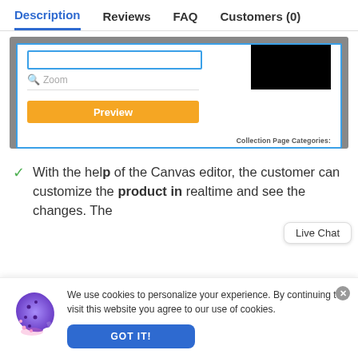Description  Reviews  FAQ  Customers (0)
[Figure (screenshot): Screenshot of a product editor UI showing a search box with blue border, a Zoom search field, a horizontal divider, an orange Preview button, and a black rectangle image on the right. Bottom bar reads 'Collection Page Categories:']
With the help of the bold(p) of the Canvas editor, the customer can customize the product in realtime and see the changes. The...
Live Chat
We use cookies to personalize your experience. By continuing to visit this website you agree to our use of cookies.
GOT IT!